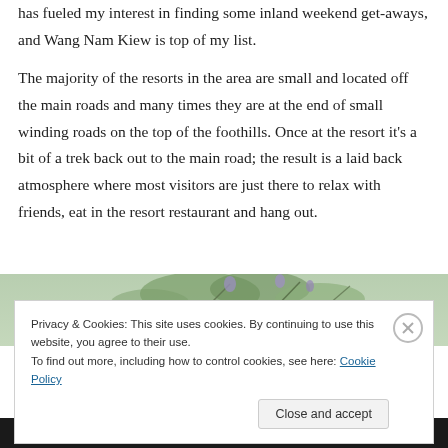has fueled my interest in finding some inland weekend get-aways, and Wang Nam Kiew is top of my list.
The majority of the resorts in the area are small and located off the main roads and many times they are at the end of small winding roads on the top of the foothills. Once at the resort it's a bit of a trek back out to the main road; the result is a laid back atmosphere where most visitors are just there to relax with friends, eat in the resort restaurant and hang out.
[Figure (photo): Partial photo of plants/foliage, partially obscured by cookie consent banner]
Privacy & Cookies: This site uses cookies. By continuing to use this website, you agree to their use.
To find out more, including how to control cookies, see here: Cookie Policy
Close and accept